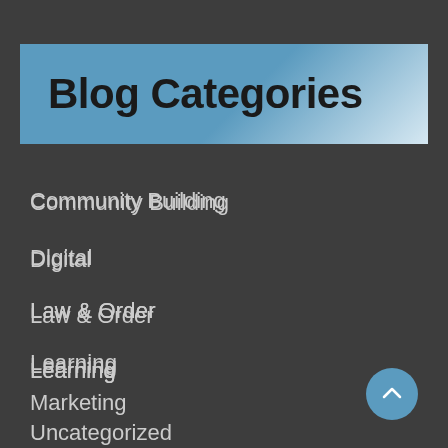Blog Categories
Community Building
Digital
Law & Order
Learning
Marketing
Uncategorized